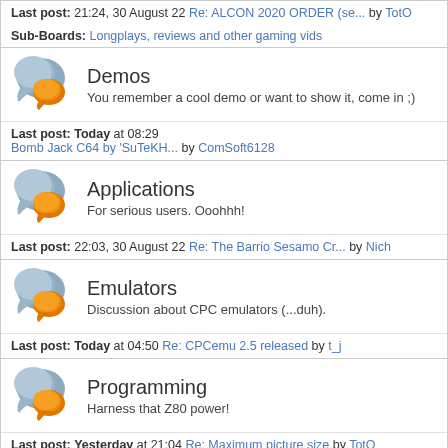Last post: 21:24, 30 August 22 Re: ALCON 2020 ORDER (se... by TotO
Sub-Boards: Longplays, reviews and other gaming vids
Demos — You remember a cool demo or want to show it, come in ;)
Last post: Today at 08:29 Bomb Jack C64 by 'SuTeKH... by ComSoft6128
Applications — For serious users. Ooohhh!
Last post: 22:03, 30 August 22 Re: The Barrio Sesamo Cr... by Nich
Emulators — Discussion about CPC emulators (...duh).
Last post: Today at 04:50 Re: CPCemu 2.5 released by t_j
Programming — Harness that Z80 power!
Last post: Yesterday at 21:04 Re: Maximum picture size by TotO
GFX + Tunes